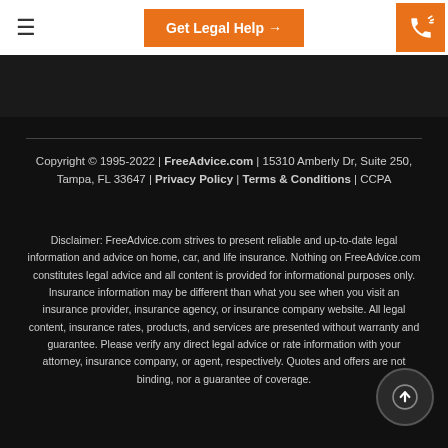≡  Get Legal Help →  [phone icon]
Copyright © 1995-2022 | FreeAdvice.com | 15310 Amberly Dr, Suite 250, Tampa, FL 33647 | Privacy Policy | Terms & Conditions | CCPA
Disclaimer: FreeAdvice.com strives to present reliable and up-to-date legal information and advice on home, car, and life insurance. Nothing on FreeAdvice.com constitutes legal advice and all content is provided for informational purposes only. Insurance information may be different than what you see when you visit an insurance provider, insurance agency, or insurance company website. All legal content, insurance rates, products, and services are presented without warranty and guarantee. Please verify any direct legal advice or rate information with your attorney, insurance company, or agent, respectively. Quotes and offers are not binding, nor a guarantee of coverage.